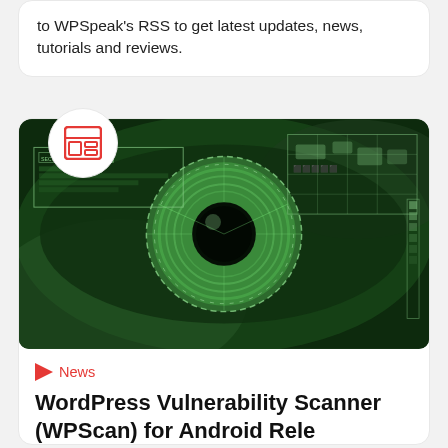to WPSpeak's RSS to get latest updates, news, tutorials and reviews.
[Figure (photo): Green-tinted close-up of a human eye with digital security scanner overlay, HUD elements, and world map grid in the background]
News
WordPress Vulnerability Scanner (WPScan) for Android Released